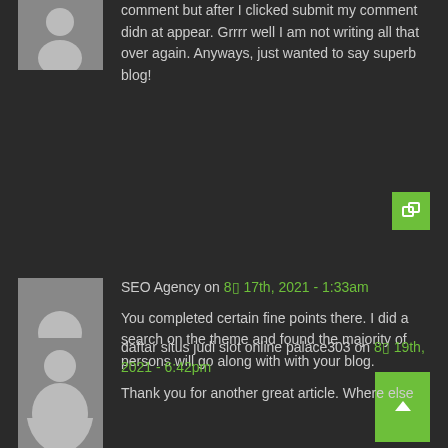comment but after I clicked submit my comment didn at appear. Grrrr well I am not writing all that over again. Anyways, just wanted to say superb blog!
SEO Agency on 8▯ 17th, 2021 - 1:33am
You completed certain fine points there. I did a search on the theme and found the majority of persons will go along with with your blog.
daftar situs judi slot online palace303 on 8▯ 19th, 2021 - 6:42pm
Thank you for another great article. Where else